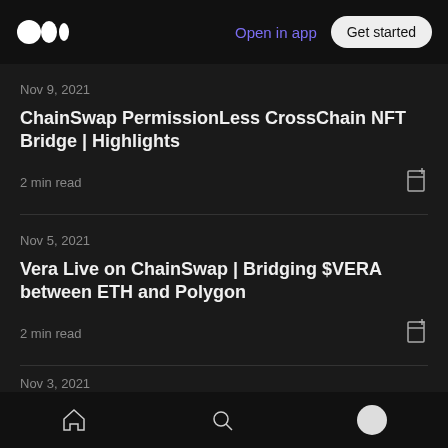Medium logo | Open in app | Get started
Nov 9, 2021
ChainSwap PermissionLess CrossChain NFT Bridge | Highlights
2 min read
Nov 5, 2021
Vera Live on ChainSwap | Bridging $VERA between ETH and Polygon
2 min read
Nov 3, 2021
Home | Search | Profile